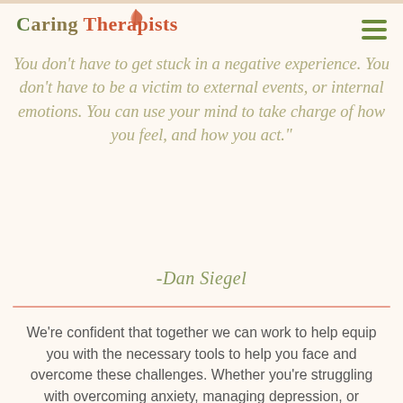Caring Therapists
You don't have to get stuck in a negative experience. You don't have to be a victim to external events, or internal emotions. You can use your mind to take charge of how you feel, and how you act."
-Dan Siegel
We're confident that together we can work to help equip you with the necessary tools to help you face and overcome these challenges. Whether you're struggling with overcoming anxiety, managing depression, or processing trauma, it is important that you know you don't have to be alone in this journey.